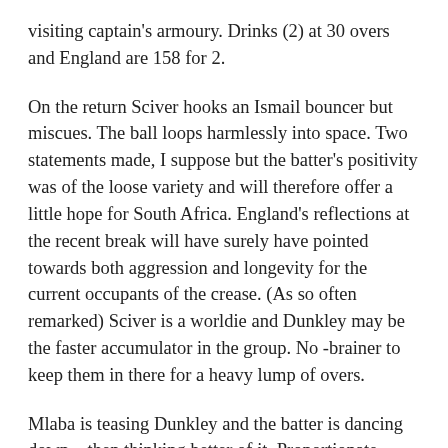visiting captain's armoury. Drinks (2) at 30 overs and England are 158 for 2.
On the return Sciver hooks an Ismail bouncer but miscues. The ball loops harmlessly into space. Two statements made, I suppose but the batter's positivity was of the loose variety and will therefore offer a little hope for South Africa. England's reflections at the recent break will have surely have pointed towards both aggression and longevity for the current occupants of the crease. (As so often remarked) Sciver is a worldie and Dunkley may be the faster accumulator in the group. No -brainer to keep them in there for a heavy lump of overs.
Mlaba is teasing Dunkley and the batter is dancing down – then thinking better of it. Proportionate...